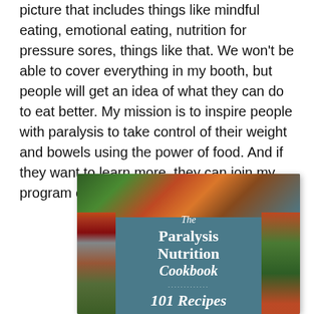picture that includes things like mindful eating, emotional eating, nutrition for pressure sores, things like that. We won't be able to cover everything in my booth, but people will get an idea of what they can do to eat better. My mission is to inspire people with paralysis to take control of their weight and bowels using the power of food. And if they want to learn more, they can join my program or buy the cookbook."
[Figure (photo): Cover of 'The Paralysis Nutrition Cookbook - 101 Recipes' showing a teal/slate blue background with various fresh vegetables and foods arranged around the border including tomatoes, lettuce, mushrooms, garlic, asparagus, avocado, and herbs. The title text is displayed in white serif italic font.]